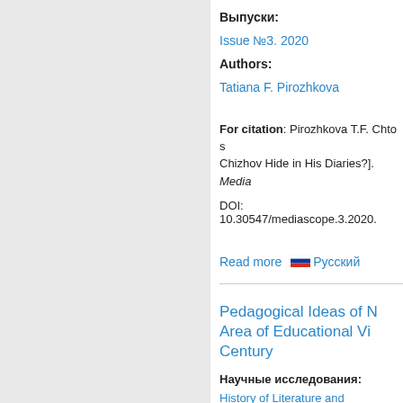Выпуски:
Issue №3. 2020
Authors:
Tatiana F. Pirozhkova
For citation: Pirozhkova T.F. Chto s Chizhov Hide in His Diaries?]. Media. DOI: 10.30547/mediascope.3.2020.
Read more   🇷🇺 Русский
Pedagogical Ideas of N Area of Educational Vi Century
Научные исследования:
History of Literature and Journalism